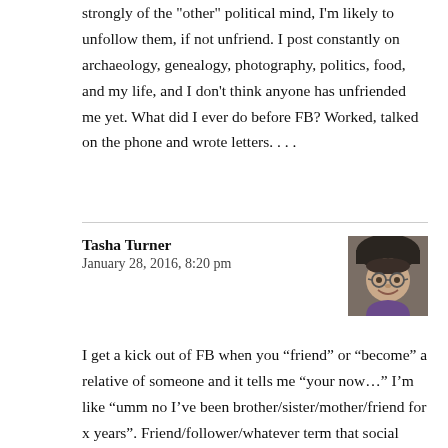strongly of the "other" political mind, I'm likely to unfollow them, if not unfriend. I post constantly on archaeology, genealogy, photography, politics, food, and my life, and I don't think anyone has unfriended me yet. What did I ever do before FB? Worked, talked on the phone and wrote letters. . . .
Tasha Turner
January 28, 2016, 8:20 pm
[Figure (photo): Profile photo of Tasha Turner: a person wearing a dark hat, smiling, with glasses, in a purple top]
I get a kick out of FB when you “friend” or “become” a relative of someone and it tells me “your now…” I’m like “umm no I’ve been brother/sister/mother/friend for x years”. Friend/follower/whatever term that social media uses for electronically connecting has little meaning about my actual relationship to someone. I